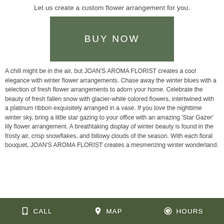Let us create a custom flower arrangement for you.
BUY NOW
A chill might be in the air, but JOAN'S AROMA FLORIST creates a cool elegance with winter flower arrangements. Chase away the winter blues with a selection of fresh flower arrangements to adorn your home. Celebrate the beauty of fresh fallen snow with glacier-white colored flowers, intertwined with a platinum ribbon exquisitely arranged in a vase. If you love the nighttime winter sky, bring a little star gazing to your office with an amazing 'Star Gazer' lily flower arrangement. A breathtaking display of winter beauty is found in the frosty air, crisp snowflakes, and billowy clouds of the season. With each floral bouquet, JOAN'S AROMA FLORIST creates a mesmerizing winter wonderland.
CALL   MAP   HOURS